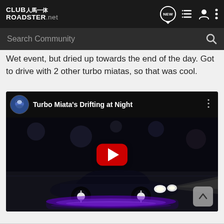CLUB人馬一体 ROADSTER.net — navigation bar with NEW, list, user, and menu icons
Search Community
Wet event, but dried up towards the end of the day. Got to drive with 2 other turbo miatas, so that was cool.
[Figure (screenshot): Embedded YouTube video thumbnail showing a Mazda Miata drifting at night with purple underglow lighting. Video title: Turbo Miata's Drifting at Night. Red YouTube play button overlay in center.]